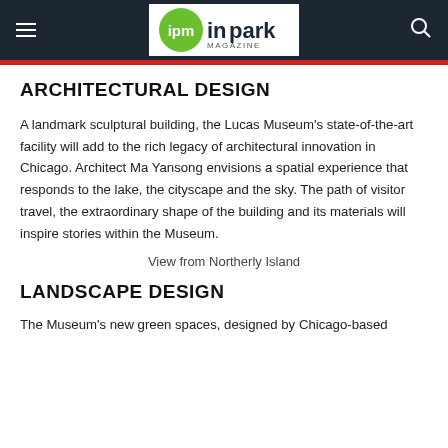ipm inpark MAGAZINE
ARCHITECTURAL DESIGN
A landmark sculptural building, the Lucas Museum's state-of-the-art facility will add to the rich legacy of architectural innovation in Chicago. Architect Ma Yansong envisions a spatial experience that responds to the lake, the cityscape and the sky. The path of visitor travel, the extraordinary shape of the building and its materials will inspire stories within the Museum.
View from Northerly Island
LANDSCAPE DESIGN
The Museum's new green spaces, designed by Chicago-based